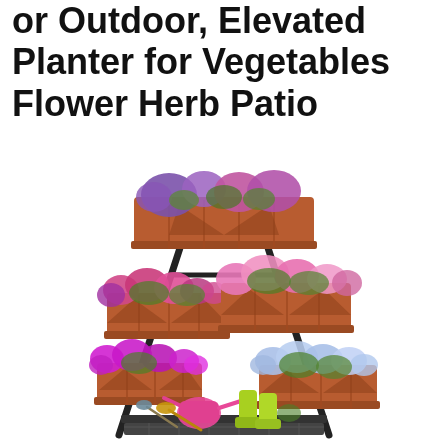or Outdoor, Elevated Planter for Vegetables Flower Herb Patio
[Figure (photo): A tiered A-frame metal plant stand with multiple terracotta-colored rectangular plastic planters filled with colorful flowering plants (purple, pink, white flowers). Gardening accessories including a pink watering can, yellow-green rain boots, a trowel and other tools are arranged at the base. The stand has a bottom wire shelf.]